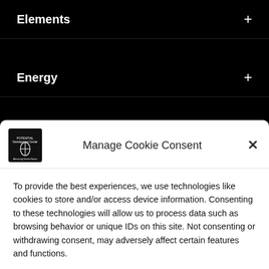Elements +
Energy +
Eustress +
Manage Cookie Consent
To provide the best experiences, we use technologies like cookies to store and/or access device information. Consenting to these technologies will allow us to process data such as browsing behavior or unique IDs on this site. Not consenting or withdrawing consent, may adversely affect certain features and functions.
Accept
Privacy Policy  Privacy Policy